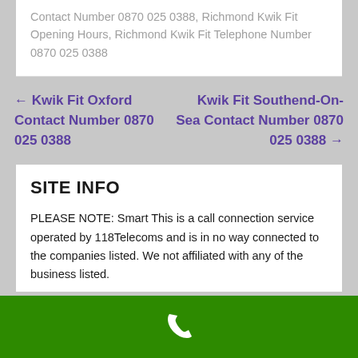Contact Number 0870 025 0388, Richmond Kwik Fit Opening Hours, Richmond Kwik Fit Telephone Number 0870 025 0388
← Kwik Fit Oxford Contact Number 0870 025 0388
Kwik Fit Southend-On-Sea Contact Number 0870 025 0388 →
SITE INFO
PLEASE NOTE: Smart This is a call connection service operated by 118Telecoms and is in no way connected to the companies listed. We not affiliated with any of the business listed...